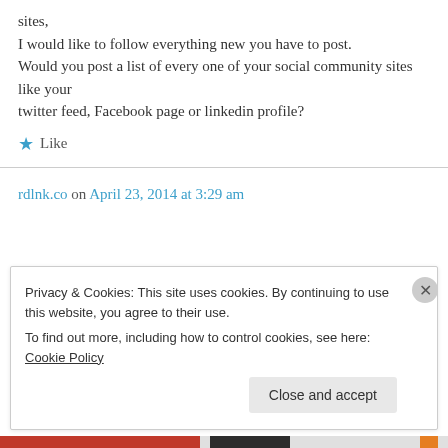sites,
I would like to follow everything new you have to post.
Would you post a list of every one of your social community sites like your twitter feed, Facebook page or linkedin profile?
★ Like
rdlnk.co on April 23, 2014 at 3:29 am
Privacy & Cookies: This site uses cookies. By continuing to use this website, you agree to their use.
To find out more, including how to control cookies, see here: Cookie Policy
Close and accept